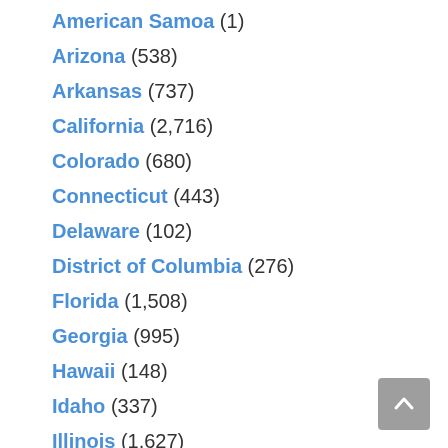American Samoa (1)
Arizona (538)
Arkansas (737)
California (2,716)
Colorado (680)
Connecticut (443)
Delaware (102)
District of Columbia (276)
Florida (1,508)
Georgia (995)
Hawaii (148)
Idaho (337)
Illinois (1,627)
Indiana (1,200)